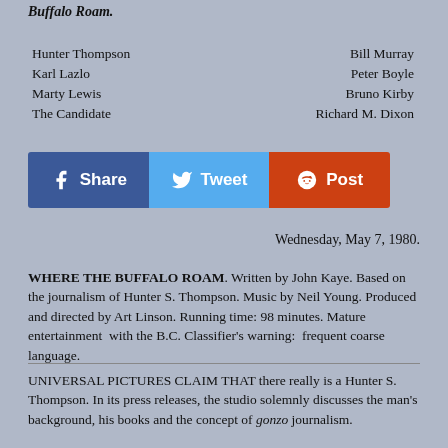Buffalo Roam.
| Character | Actor |
| --- | --- |
| Hunter Thompson | Bill Murray |
| Karl Lazlo | Peter Boyle |
| Marty Lewis | Bruno Kirby |
| The Candidate | Richard M. Dixon |
[Figure (infographic): Social media sharing buttons: Facebook Share (blue), Twitter Tweet (light blue), Reddit Post (orange-red)]
Wednesday, May 7, 1980.
WHERE THE BUFFALO ROAM. Written by John Kaye. Based on the journalism of Hunter S. Thompson. Music by Neil Young. Produced and directed by Art Linson. Running time: 98 minutes. Mature entertainment with the B.C. Classifier's warning: frequent coarse language.
UNIVERSAL PICTURES CLAIM THAT there really is a Hunter S. Thompson. In its press releases, the studio solemnly discusses the man's background, his books and the concept of gonzo journalism.
It doesn't all matter. Where the Buffalo Roam. Universal...